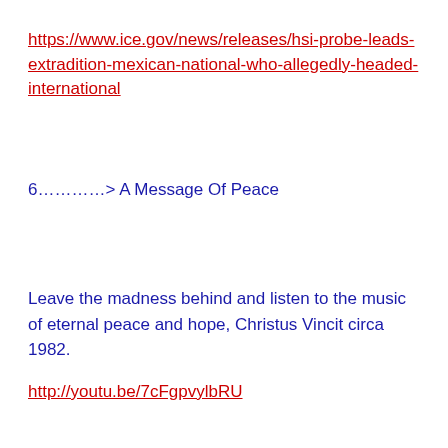https://www.ice.gov/news/releases/hsi-probe-leads-extradition-mexican-national-who-allegedly-headed-international
6…………> A Message Of Peace
Leave the madness behind and listen to the music of eternal peace and hope, Christus Vincit circa 1982.
http://youtu.be/7cFgpvylbRU